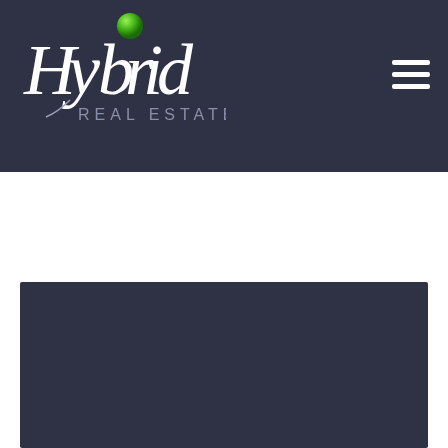[Figure (logo): Hybrid Real Estate logo: stylized 'Hybrid' text in white with a green glossy dot above the 'i', and 'REAL ESTATE' in smaller grey text below, on a dark navy background]
[Figure (other): Hamburger menu icon (three horizontal white lines) in upper right corner on dark navy background]
[Figure (other): Dark navy rectangular content block in the lower portion of the page]